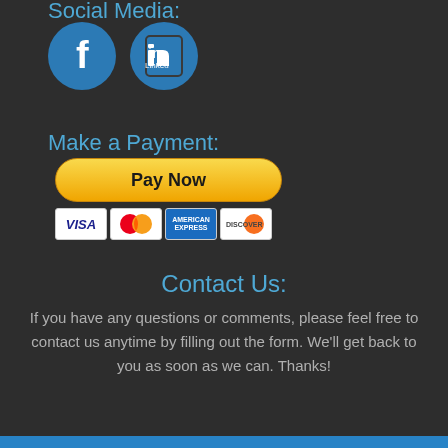Social Media:
[Figure (illustration): Facebook and LinkedIn circular blue social media icons]
Make a Payment:
[Figure (illustration): PayPal Pay Now button with Visa, Mastercard, American Express, and Discover card icons below]
Contact Us:
If you have any questions or comments, please feel free to contact us anytime by filling out the form. We'll get back to you as soon as we can. Thanks!